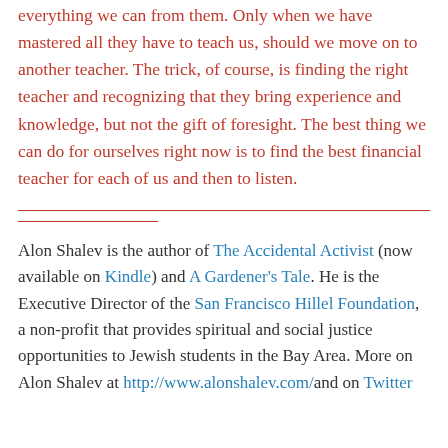everything we can from them. Only when we have mastered all they have to teach us, should we move on to another teacher. The trick, of course, is finding the right teacher and recognizing that they bring experience and knowledge, but not the gift of foresight. The best thing we can do for ourselves right now is to find the best financial teacher for each of us and then to listen.
Alon Shalev is the author of The Accidental Activist (now available on Kindle) and A Gardener's Tale. He is the Executive Director of the San Francisco Hillel Foundation, a non-profit that provides spiritual and social justice opportunities to Jewish students in the Bay Area. More on Alon Shalev at http://www.alonshalev.com/and on Twitter